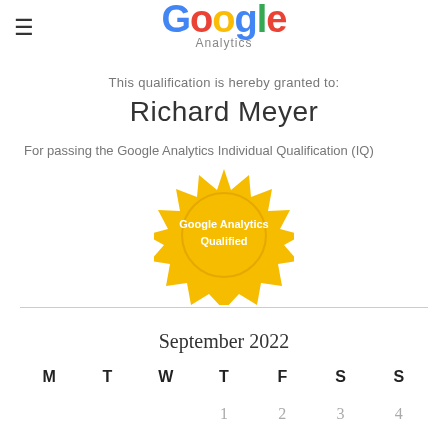[Figure (logo): Google Analytics logo with colorful Google lettering and 'Analytics' subtitle in gray]
This qualification is hereby granted to:
Richard Meyer
For passing the Google Analytics Individual Qualification (IQ)
[Figure (illustration): Gold star-burst seal badge with text 'Google Analytics Qualified']
September 2022
| M | T | W | T | F | S | S |
| --- | --- | --- | --- | --- | --- | --- |
|  |  |  | 1 | 2 | 3 | 4 |